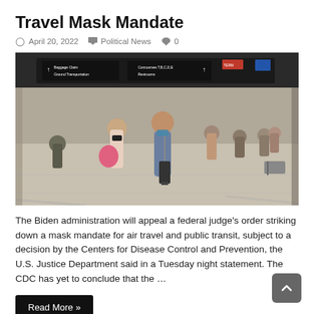Travel Mask Mandate
April 20, 2022   Political News   0
[Figure (photo): Airport terminal with travelers walking through, several wearing face masks. Overhead directional signs visible including Baggage Claim, Ground Transportation, Concourses, and Restrooms.]
The Biden administration will appeal a federal judge’s order striking down a mask mandate for air travel and public transit, subject to a decision by the Centers for Disease Control and Prevention, the U.S. Justice Department said in a Tuesday night statement. The CDC has yet to conclude that the …
Read More »